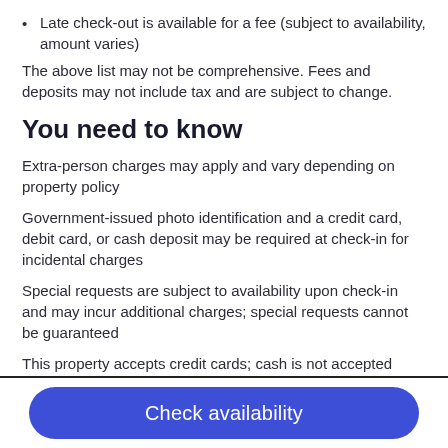Late check-out is available for a fee (subject to availability, amount varies)
The above list may not be comprehensive. Fees and deposits may not include tax and are subject to change.
You need to know
Extra-person charges may apply and vary depending on property policy
Government-issued photo identification and a credit card, debit card, or cash deposit may be required at check-in for incidental charges
Special requests are subject to availability upon check-in and may incur additional charges; special requests cannot be guaranteed
This property accepts credit cards; cash is not accepted
This property reserves the right to pre-authorize the guest's credit card prior to arrival.
Check availability